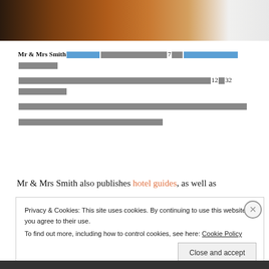[Figure (photo): Partial photo strip at top showing dark and warm-toned objects (books/vases), fading to light on the right]
Mr & Mrs Smith [redacted text] 7 [redacted] [blue link redacted] [redacted] 12 [redacted] 32 [redacted]
Mr & Mrs Smith also publishes hotel guides, as well as
Privacy & Cookies: This site uses cookies. By continuing to use this website, you agree to their use.
To find out more, including how to control cookies, see here: Cookie Policy
Close and accept